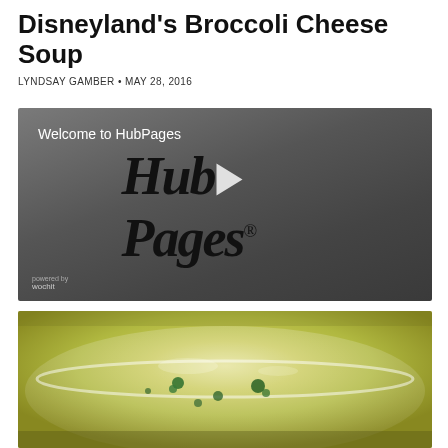Disneyland's Broccoli Cheese Soup
LYNDSAY GAMBER • MAY 28, 2016
[Figure (screenshot): HubPages welcome video thumbnail with HubPages logo in cursive italic font and a play button in the center, on a dark gray gradient background. 'Welcome to HubPages' text in upper left. Wochit logo in lower left.]
[Figure (photo): Close-up photo of a bowl of broccoli cheese soup, showing a pale yellow-green creamy soup with broccoli pieces, in a white bowl, viewed from above at an angle.]